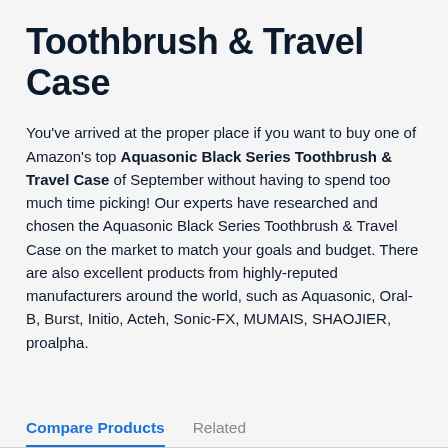Toothbrush & Travel Case
You've arrived at the proper place if you want to buy one of Amazon's top Aquasonic Black Series Toothbrush & Travel Case of September without having to spend too much time picking! Our experts have researched and chosen the Aquasonic Black Series Toothbrush & Travel Case on the market to match your goals and budget. There are also excellent products from highly-reputed manufacturers around the world, such as Aquasonic, Oral-B, Burst, Initio, Acteh, Sonic-FX, MUMAIS, SHAOJIER, proalpha.
Compare Products   Related